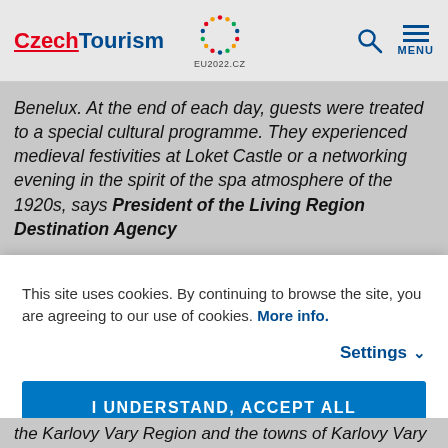CzechTourism | EU2022.CZ | MENU
Benelux. At the end of each day, guests were treated to a special cultural programme. They experienced medieval festivities at Loket Castle or a networking evening in the spirit of the spa atmosphere of the 1920s, says President of the Living Region Destination Agency
This site uses cookies. By continuing to browse the site, you are agreeing to our use of cookies. More info.
Settings
I UNDERSTAND, ACCEPT ALL
the Karlovy Vary Region and the towns of Karlovy Vary